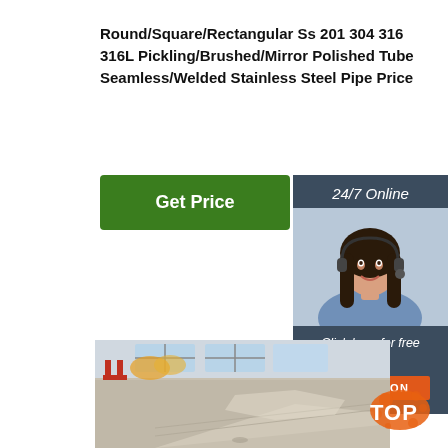Round/Square/Rectangular Ss 201 304 316 316L Pickling/Brushed/Mirror Polished Tube Seamless/Welded Stainless Steel Pipe Price
[Figure (other): Green 'Get Price' button]
[Figure (other): Dark sidebar with '24/7 Online' label, customer service representative photo, 'Click here for free chat!' text, and orange QUOTATION button]
[Figure (photo): Industrial warehouse/factory floor showing stainless steel flat sheets/plates stacked, with red metal structures and machinery visible in background]
[Figure (logo): TOP logo with orange paint splash design in bottom right corner]